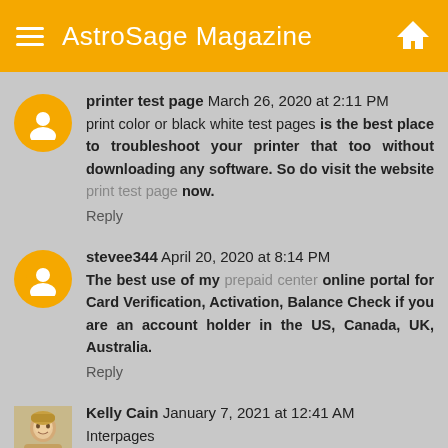AstroSage Magazine
printer test page  March 26, 2020 at 2:11 PM
print color or black white test pages is the best place to troubleshoot your printer that too without downloading any software. So do visit the website print test page now.
Reply
stevee344  April 20, 2020 at 8:14 PM
The best use of my prepaid center online portal for Card Verification, Activation, Balance Check if you are an account holder in the US, Canada, UK, Australia.
Reply
Kelly Cain  January 7, 2021 at 12:41 AM
Interpages